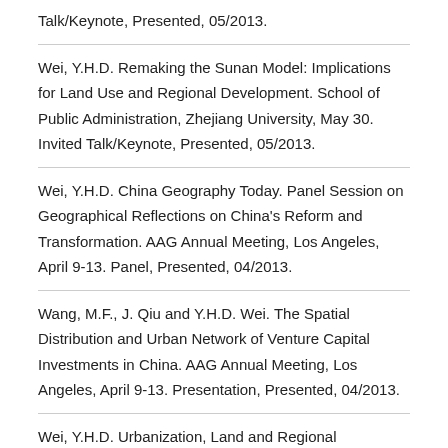Talk/Keynote, Presented, 05/2013.
Wei, Y.H.D. Remaking the Sunan Model: Implications for Land Use and Regional Development. School of Public Administration, Zhejiang University, May 30. Invited Talk/Keynote, Presented, 05/2013.
Wei, Y.H.D. China Geography Today. Panel Session on Geographical Reflections on China's Reform and Transformation. AAG Annual Meeting, Los Angeles, April 9-13. Panel, Presented, 04/2013.
Wang, M.F., J. Qiu and Y.H.D. Wei. The Spatial Distribution and Urban Network of Venture Capital Investments in China. AAG Annual Meeting, Los Angeles, April 9-13. Presentation, Presented, 04/2013.
Wei, Y.H.D. Urbanization, Land and Regional Development in China. AAG Annual Meeting, Los Angeles,